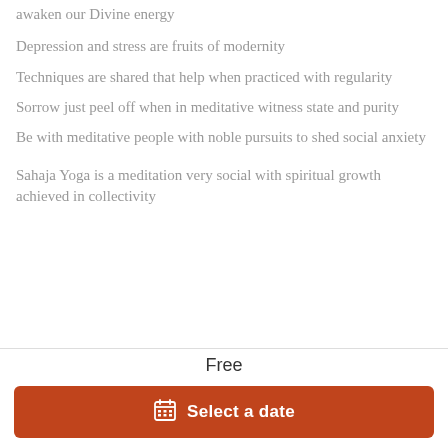awaken our Divine energy
Depression and stress are fruits of modernity
Techniques are shared that help when practiced with regularity
Sorrow just peel off when in meditative witness state and purity
Be with meditative people with noble pursuits to shed social anxiety
Sahaja Yoga is a meditation very social with spiritual growth achieved in collectivity
Free
Select a date